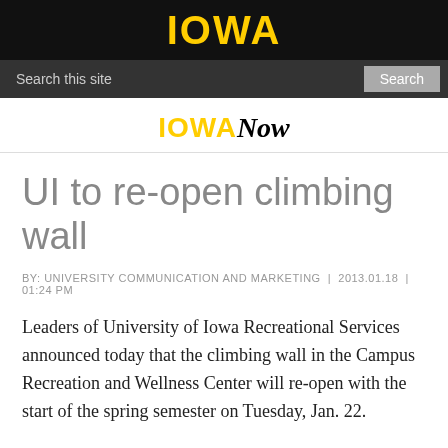IOWA
Search this site | Search
IOWANow
UI to re-open climbing wall
BY: UNIVERSITY COMMUNICATION AND MARKETING | 2013.01.18 | 01:24 PM
Leaders of University of Iowa Recreational Services announced today that the climbing wall in the Campus Recreation and Wellness Center will re-open with the start of the spring semester on Tuesday, Jan. 22.
Staff closed the climbing wall Nov. 8, immediately after a student climbing the wall fell from a height of